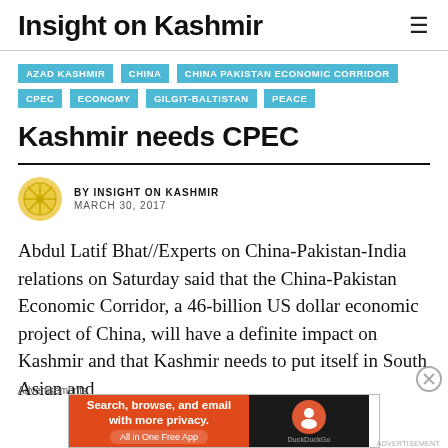Insight on Kashmir
AZAD KASHMIR
CHINA
CHINA PAKISTAN ECONOMIC CORRIDOR
CPEC
ECONOMY
GILGIT-BALTISTAN
PEACE
Kashmir needs CPEC
BY INSIGHT ON KASHMIR
MARCH 30, 2017
Abdul Latif Bhat//Experts on China-Pakistan-India relations on Saturday said that the China-Pakistan Economic Corridor, a 46-billion US dollar economic project of China, will have a definite impact on Kashmir and that Kashmir needs to put itself in South Asian and
Advertisements
[Figure (other): DuckDuckGo advertisement banner: Search, browse, and email with more privacy. All in One Free App. DuckDuckGo logo on dark background.]